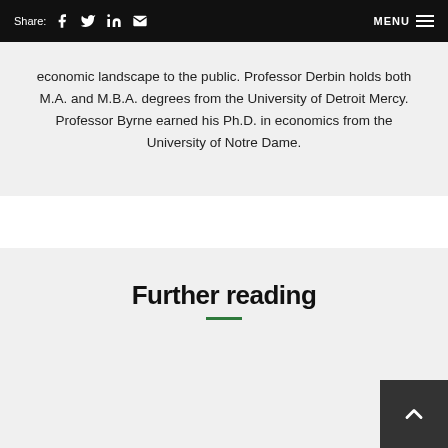Share: [Facebook] [Twitter] [LinkedIn] [Email]   MENU
economic landscape to the public. Professor Derbin holds both M.A. and M.B.A. degrees from the University of Detroit Mercy. Professor Byrne earned his Ph.D. in economics from the University of Notre Dame.
Further reading
[Figure (photo): Photograph of a religious figure (Pope) wearing white vestments and a white zucchetto, shown in profile/three-quarter view with a blurred background]